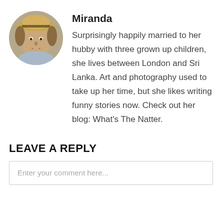[Figure (photo): Circular profile photo of Miranda, a woman wearing a straw hat, resting her chin on her hand]
Miranda
Surprisingly happily married to her hubby with three grown up children, she lives between London and Sri Lanka. Art and photography used to take up her time, but she likes writing funny stories now. Check out her blog: What's The Natter.
LEAVE A REPLY
Enter your comment here...